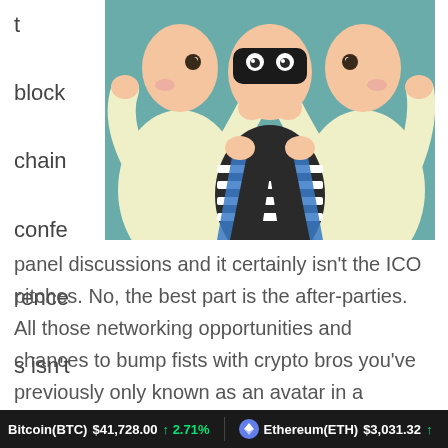t block chain conferences isn't the
[Figure (illustration): Cartoon illustration of a thief/robber character in a black-and-white striped shirt and black mask, flanked by two people in cream/yellow jackets on a teal background.]
panel discussions and it certainly isn't the ICO pitches. No, the best part is the after-parties. All those networking opportunities and chances to bump fists with crypto bros you've previously only known as an avatar in a Telegram group. Some words of caution are necessary though.
Bitcoin(BTC) $41,728.00 ↑ 2.71%   Ethereum(ETH) $3,031.32 ↑